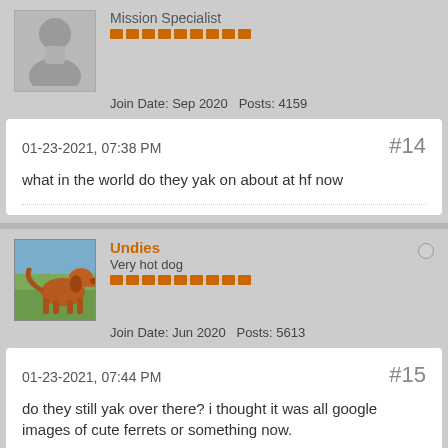Mission Specialist
Join Date: Sep 2020   Posts: 4159
01-23-2021, 07:38 PM
#14
what in the world do they yak on about at hf now
[Figure (photo): User avatar showing a brown dog (Vizsla) standing in a field]
Undies
Very hot dog
Join Date: Jun 2020   Posts: 5613
01-23-2021, 07:44 PM
#15
do they still yak over there? i thought it was all google images of cute ferrets or something now.